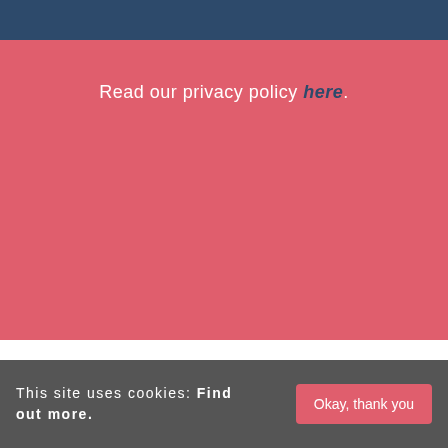Read our privacy policy here.
SOCIAL EXETER
INSTAGRAM
TWEETS
This site uses cookies: Find out more.
Okay, thank you